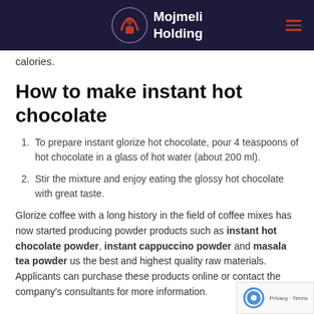Mojmeli Holding
calories.
How to make instant hot chocolate
To prepare instant glorize hot chocolate, pour 4 teaspoons of hot chocolate in a glass of hot water (about 200 ml).
Stir the mixture and enjoy eating the glossy hot chocolate with great taste.
Glorize coffee with a long history in the field of coffee mixes has now started producing powder products such as instant hot chocolate powder, instant cappuccino powder and masala tea powder us the best and highest quality raw materials. Applicants can purchase these products online or contact the company's consultants for more information.